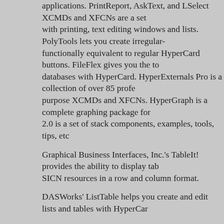applications. PrintReport, AskText, and LSelect XCMDs and XFCNs are a set with printing, text editing windows and lists. PolyTools lets you create irregular- functionally equivalent to regular HyperCard buttons. FileFlex gives you the to databases with HyperCard. HyperExternals Pro is a collection of over 85 profe purpose XCMDs and XFCNs. HyperGraph is a complete graphing package for 2.0 is a set of stack components, examples, tools, tips, etc
Graphical Business Interfaces, Inc.'s TableIt! provides the ability to display tab SICN resources in a row and column format.
DASWorks' ListTable helps you create and edit lists and tables with HyperCar
Full Moon Software's commstalk for HyperCard turns HyperCard into a powerf and front-ending tool.
Sheller Development's PopScript is a scripters' tool. It is a control panel add-o editor giving you the options for sorting, markers, fonts, handler grouping and
Symplex Systems' HyperTint is a set of XCMDs for adding color to HyperCard colors, visual effects, etc
Christopher Computers' HyperShare v2.2 can make your data available to mu
Cyan, Inc.'s Peacock is a utility for help with importing and exporting.
FaceWare's HyperFace 1.1 allows HyperCard programmers to call FaceWare
Softstream International's HyperHITDeluxe 2.0 has XCMDs and XFCNs for ad